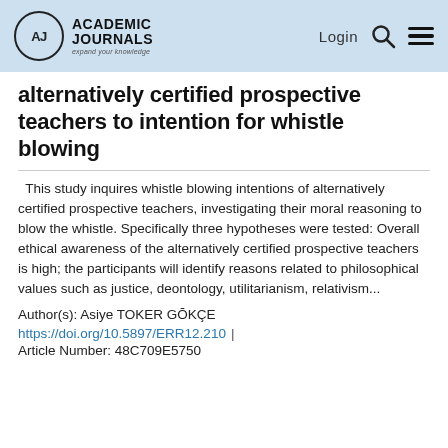Academic Journals — Login
alternatively certified prospective teachers to intention for whistle blowing
This study inquires whistle blowing intentions of alternatively certified prospective teachers, investigating their moral reasoning to blow the whistle. Specifically three hypotheses were tested: Overall ethical awareness of the alternatively certified prospective teachers is high; the participants will identify reasons related to philosophical values such as justice, deontology, utilitarianism, relativism...
Author(s): Asiye TOKER GŌKÇE
https://doi.org/10.5897/ERR12.210 | Article Number: 48C709E5750